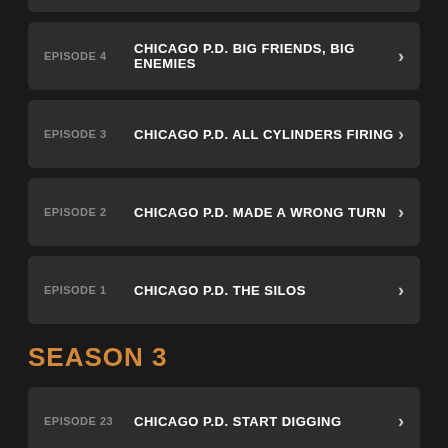EPISODE 4  CHICAGO P.D. BIG FRIENDS, BIG ENEMIES
EPISODE 3  CHICAGO P.D. ALL CYLINDERS FIRING
EPISODE 2  CHICAGO P.D. MADE A WRONG TURN
EPISODE 1  CHICAGO P.D. THE SILOS
SEASON 3
EPISODE 23  CHICAGO P.D. START DIGGING
EPISODE 22  CHICAGO P.D. SHE'S GOT US